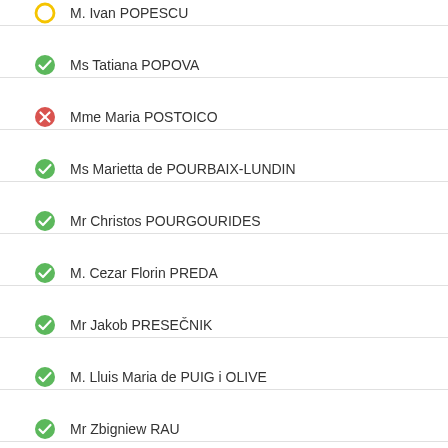M. Ivan POPESCU
Ms Tatiana POPOVA
Mme Maria POSTOICO
Ms Marietta de POURBAIX-LUNDIN
Mr Christos POURGOURIDES
M. Cezar Florin PREDA
Mr Jakob PRESEČNIK
M. Lluis Maria de PUIG i OLIVE
Mr Zbigniew RAU
M. Maximilian REIMANN
Mr Walter RIESTER
Mr Andrea RIGONI
M. Dario RIVOLTA
Mme Anta RUGĀTE
Mr Kimmo SASI
Mr Ingo SCHMITT
M. Bernard SCHREINER